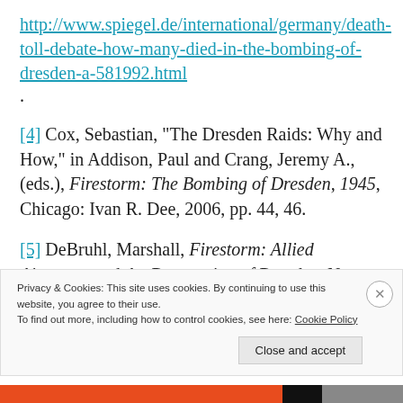http://www.spiegel.de/international/germany/death-toll-debate-how-many-died-in-the-bombing-of-dresden-a-581992.html.
[4] Cox, Sebastian, "The Dresden Raids: Why and How," in Addison, Paul and Crang, Jeremy A., (eds.), Firestorm: The Bombing of Dresden, 1945, Chicago: Ivan R. Dee, 2006, pp. 44, 46.
[5] DeBruhl, Marshall, Firestorm: Allied Airpower and the Destruction of Dresden, New York: Random House, Inc., 2006, pp. 204-205.
Privacy & Cookies: This site uses cookies. By continuing to use this website, you agree to their use. To find out more, including how to control cookies, see here: Cookie Policy